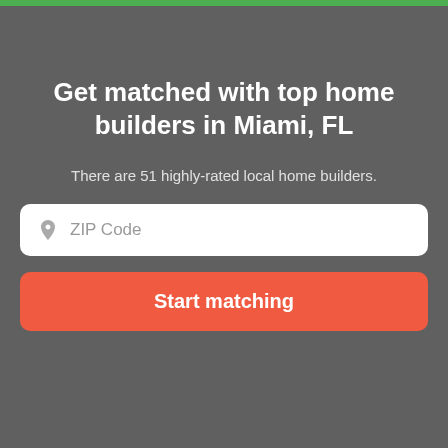[Figure (screenshot): Green top navigation bar strip at the top of the page]
Top-rated home builders work.
Get matched with top home builders in Miami, FL
There are 51 highly-rated local home builders.
[Figure (other): ZIP Code input field with map pin icon placeholder]
Start matching